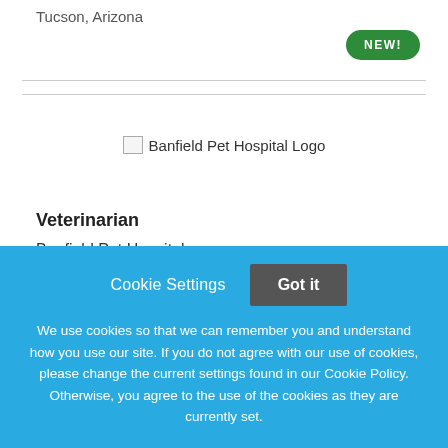Tucson, Arizona
[Figure (logo): Banfield Pet Hospital Logo placeholder image]
Veterinarian
Banfield Pet Hospital
Fairless Hills, Pennsylvania
Cookie Settings
Got it
We use cookies so that we can remember you and understand how you use our site. If you do not agree with our use of cookies, please change the current settings found in our Cookie Policy. Otherwise, you agree to the use of the cookies as they are currently set.